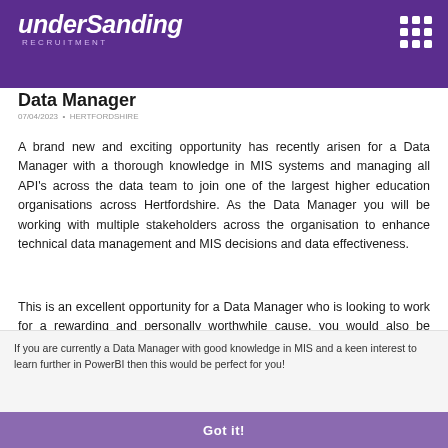understanding RECRUITMENT
Data Manager
A brand new and exciting opportunity has recently arisen for a Data Manager with a thorough knowledge in MIS systems and managing all API's across the data team to join one of the largest higher education organisations across Hertfordshire. As the Data Manager you will be working with multiple stakeholders across the organisation to enhance technical data management and MIS decisions and data effectiveness.
This is an excellent opportunity for a Data Manager who is looking to work for a rewarding and personally worthwhile cause, you would also be improving how this organisation uses Data. You will have the ability to challenge your own knowledge with the chance to learn in PowerBI!.
If you are currently a Data Manager with good knowledge in MIS and a keen interest to learn further in PowerBI then this would be perfect for you!